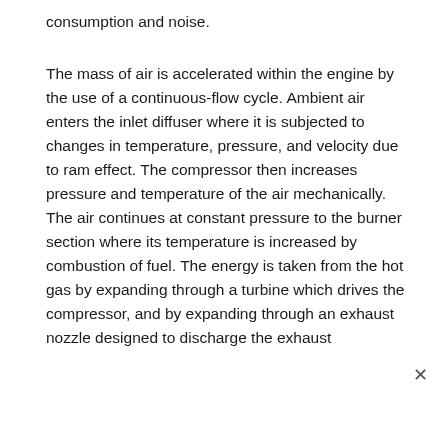consumption and noise.
The mass of air is accelerated within the engine by the use of a continuous-flow cycle. Ambient air enters the inlet diffuser where it is subjected to changes in temperature, pressure, and velocity due to ram effect. The compressor then increases pressure and temperature of the air mechanically. The air continues at constant pressure to the burner section where its temperature is increased by combustion of fuel. The energy is taken from the hot gas by expanding through a turbine which drives the compressor, and by expanding through an exhaust nozzle designed to discharge the exhaust